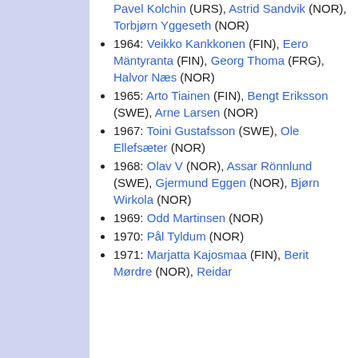Pavel Kolchin (URS), Astrid Sandvik (NOR), Torbjørn Yggeseth (NOR)
1964: Veikko Kankkonen (FIN), Eero Mäntyranta (FIN), Georg Thoma (FRG), Halvor Næs (NOR)
1965: Arto Tiainen (FIN), Bengt Eriksson (SWE), Arne Larsen (NOR)
1967: Toini Gustafsson (SWE), Ole Ellefsæter (NOR)
1968: Olav V (NOR), Assar Rönnlund (SWE), Gjermund Eggen (NOR), Bjørn Wirkola (NOR)
1969: Odd Martinsen (NOR)
1970: Pål Tyldum (NOR)
1971: Marjatta Kajosmaa (FIN), Berit Mørdre (NOR), Reidar...